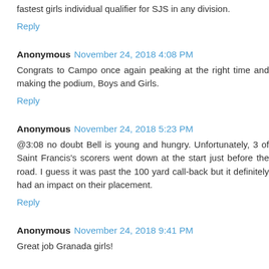fastest girls individual qualifier for SJS in any division.
Reply
Anonymous November 24, 2018 4:08 PM
Congrats to Campo once again peaking at the right time and making the podium, Boys and Girls.
Reply
Anonymous November 24, 2018 5:23 PM
@3:08 no doubt Bell is young and hungry. Unfortunately, 3 of Saint Francis's scorers went down at the start just before the road. I guess it was past the 100 yard call-back but it definitely had an impact on their placement.
Reply
Anonymous November 24, 2018 9:41 PM
Great job Granada girls!